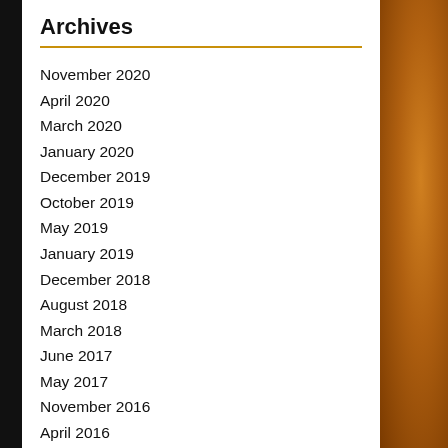Archives
November 2020
April 2020
March 2020
January 2020
December 2019
October 2019
May 2019
January 2019
December 2018
August 2018
March 2018
June 2017
May 2017
November 2016
April 2016
November 2015
September 2015
July 2015